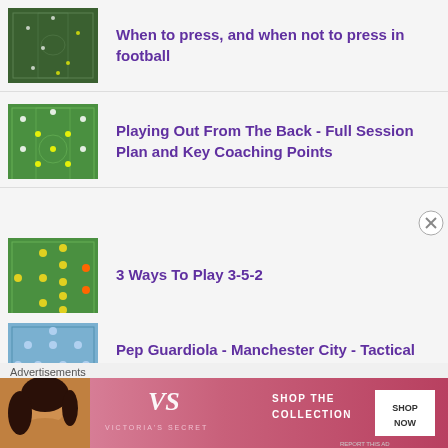When to press, and when not to press in football
Playing Out From The Back - Full Session Plan and Key Coaching Points
3 Ways To Play 3-5-2
Pep Guardiola - Manchester City - Tactical Analysis (2021-22 Edition)
Advertisements
[Figure (photo): Advertisement banner for Victoria's Secret showing a model's face on left, VS logo and 'Shop the Collection' text in center, and a 'Shop Now' button on the right, on a pink/rose gradient background.]